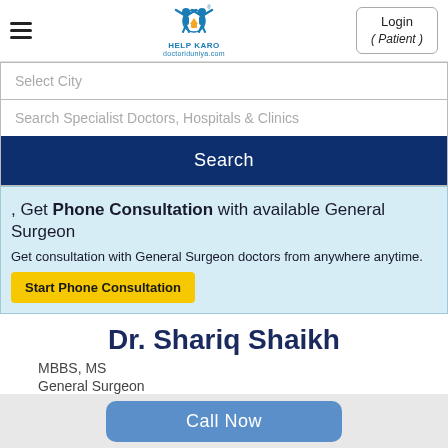[Figure (logo): Help Karo doctoriduniya.com logo with stylized figures and house icon]
Login ( Patient )
Select City
Search Specialist Doctors, Hospitals & Clinics
Search
, Get Phone Consultation with available General Surgeon
Get consultation with General Surgeon doctors from anywhere anytime.
Start Phone Consultation
Dr. Shariq Shaikh
MBBS, MS
General Surgeon
Call Now